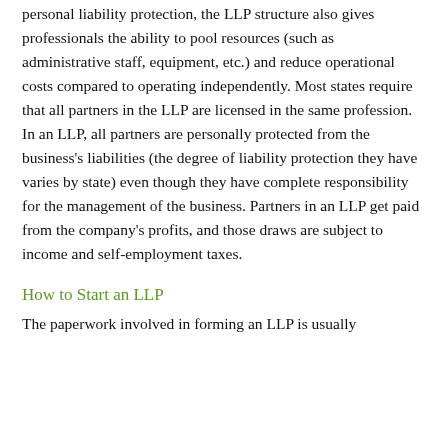personal liability protection, the LLP structure also gives professionals the ability to pool resources (such as administrative staff, equipment, etc.) and reduce operational costs compared to operating independently. Most states require that all partners in the LLP are licensed in the same profession. In an LLP, all partners are personally protected from the business's liabilities (the degree of liability protection they have varies by state) even though they have complete responsibility for the management of the business. Partners in an LLP get paid from the company's profits, and those draws are subject to income and self-employment taxes.
How to Start an LLP
The paperwork involved in forming an LLP is usually called the "Certificate of limited liability Partnership" or similar.